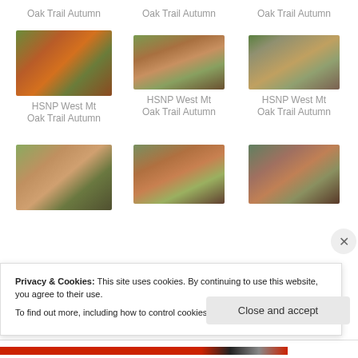Oak Trail Autumn
Oak Trail Autumn
Oak Trail Autumn
[Figure (photo): Autumn trees with orange, red and green foliage - HSNP West Mt Oak Trail]
[Figure (photo): Autumn trees with orange, red and green foliage - HSNP West Mt Oak Trail]
[Figure (photo): Autumn trees with orange, red and green foliage - HSNP West Mt Oak Trail]
HSNP West Mt Oak Trail Autumn
HSNP West Mt Oak Trail Autumn
HSNP West Mt Oak Trail Autumn
[Figure (photo): Autumn trees with red, orange and green foliage - HSNP West Mt Oak Trail]
[Figure (photo): Autumn trees with red, orange and green foliage - HSNP West Mt Oak Trail]
[Figure (photo): Autumn trees with red, orange and green foliage - HSNP West Mt Oak Trail]
Privacy & Cookies: This site uses cookies. By continuing to use this website, you agree to their use.
To find out more, including how to control cookies, see here: Cookie Policy
Close and accept